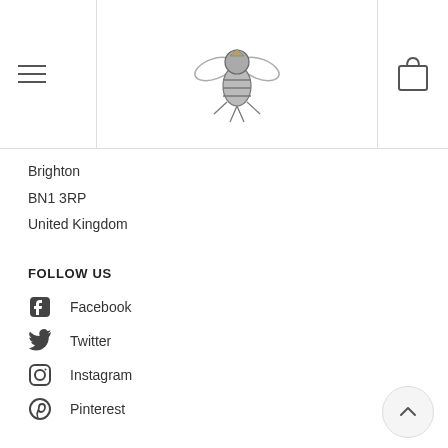Navigation header with hamburger menu, bee jewelry logo, and cart icon
Brighton
BN1 3RP
United Kingdom
FOLLOW US
Facebook
Twitter
Instagram
Pinterest
FOOTER MENU
Search
Returns & Refunds